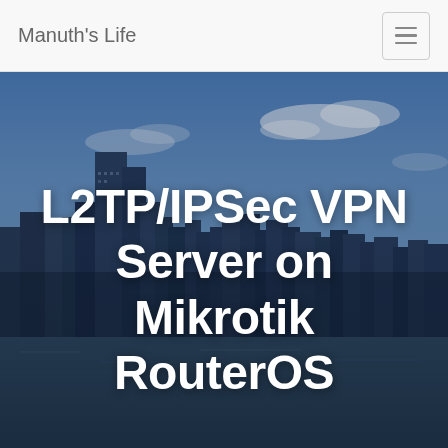Manuth's Life
[Figure (photo): City skyline (New York) with blue sky background, used as hero banner image]
L2TP/IPSec VPN Server on Mikrotik RouterOS